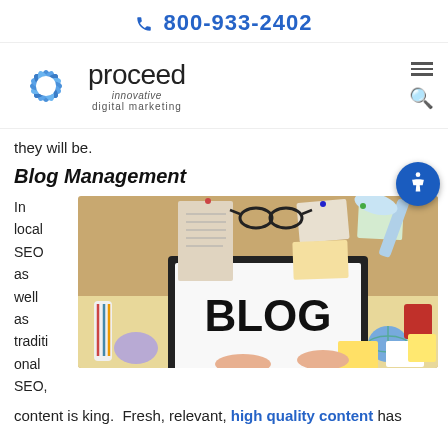📞 800-933-2402
[Figure (logo): Proceed Innovative Digital Marketing logo with sunburst/snowflake icon and company name]
they will be.
Blog Management
In local SEO as well as traditional SEO,
[Figure (photo): Photo of a person at a desk with a laptop showing the word BLOG on screen, surrounded by office supplies, sticky notes, a globe, and a bulletin board with notes]
content is king.  Fresh, relevant, high quality content has